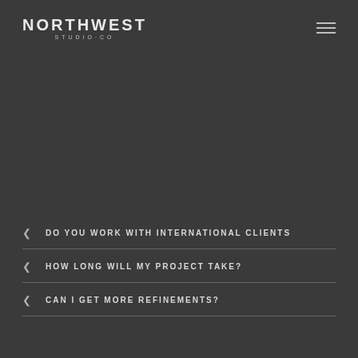NORTHWEST STUDIO·CO
DO YOU WORK WITH INTERNATIONAL CLIENTS
HOW LONG WILL MY PROJECT TAKE?
CAN I GET MORE REFINEMENTS?